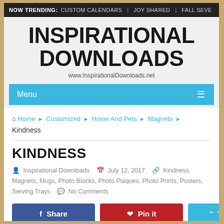NOW TRENDING: CUSTOM CALENDARS | JOY SHARED | FALL SEVE
INSPIRATIONAL DOWNLOADS
www.InspirationalDownloads.net
Menu
Home › Customized › Home And Pets › Magnets › Kindness
KINDNESS
Inspirational Downloads   July 12, 2017   Kindness, Magnets, Mugs, Photo Blocks, Photo Plaques, Photo Prints, Posters, Serving Trays   No Comments
Share  Pin it  Tweet